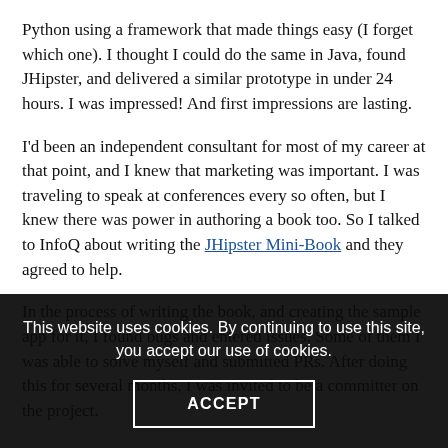Python using a framework that made things easy (I forget which one). I thought I could do the same in Java, found JHipster, and delivered a similar prototype in under 24 hours. I was impressed! And first impressions are lasting.
I'd been an independent consultant for most of my career at that point, and I knew that marketing was important. I was traveling to speak at conferences every so often, but I knew there was power in authoring a book too. So I talked to InfoQ about writing the JHipster Mini-Book and they agreed to help.
In the process of writing the book, and creating the sample app for it, I found bugs and entered issues. Some of them I was able to solve myself and submitted PRs. After doing this for several months, I was invited to be a committer on the project.
This website uses cookies. By continuing to use this site, you accept our use of cookies.
ACCEPT